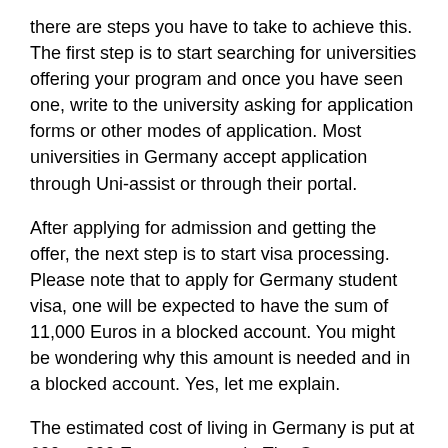there are steps you have to take to achieve this. The first step is to start searching for universities offering your program and once you have seen one, write to the university asking for application forms or other modes of application. Most universities in Germany accept application through Uni-assist or through their portal.
After applying for admission and getting the offer, the next step is to start visa processing. Please note that to apply for Germany student visa, one will be expected to have the sum of 11,000 Euros in a blocked account. You might be wondering why this amount is needed and in a blocked account. Yes, let me explain.
The estimated cost of living in Germany is put at 600 to 800 Euros per month. The German government wants to be sure that you have enough of money to take care of your living expenses for a period of 1 year since education is free. When you divide 10,000 Euros by 12 months you will arrive at about 800 Euros which is the estimated monthly cost of living in